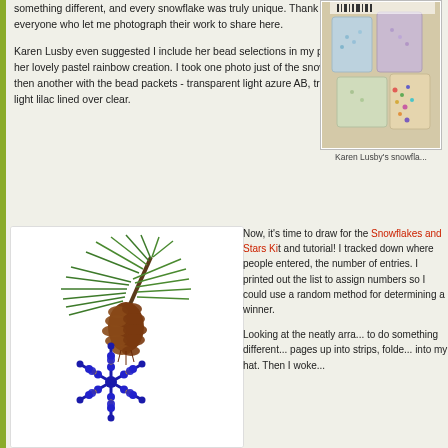something different, and every snowflake was truly unique. Thank you to everyone who let me photograph their work to share here.
Karen Lusby even suggested I include her bead selections in my photos of her lovely pastel rainbow creation. I took one photo just of the snowflake, and then another with the bead packets - transparent light azure AB, transparent light lilac lined over clear.
[Figure (photo): Photo of bead packets for Karen Lusby's snowflake creation]
Karen Lusby's snowfla...
[Figure (photo): Photo of a blue and gold beaded snowflake ornament hanging with pine branch and pinecone]
Now, it's time to draw for the Snowflakes and Stars Kit and tutorial! I tracked down where people entered, the number of entries. I printed out the list to assign numbers so I could use a random method for determining a winner.
Looking at the neatly arra... to do something different... pages up into strips, folde... into my hat. Then I woke...